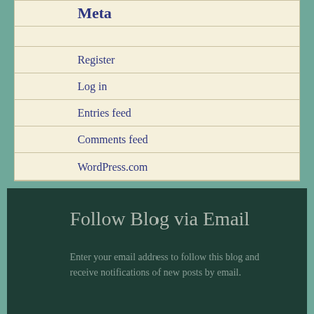Meta
Register
Log in
Entries feed
Comments feed
WordPress.com
Follow Blog via Email
Enter your email address to follow this blog and receive notifications of new posts by email.